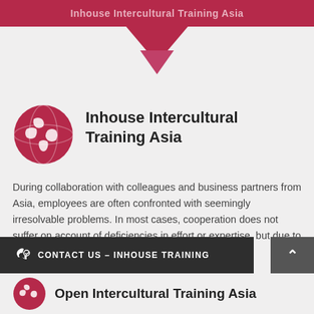Inhouse Intercultural Training Asia
[Figure (illustration): Red globe icon with continents]
Inhouse Intercultural Training Asia
During collaboration with colleagues and business partners from Asia, employees are often confronted with seemingly irresolvable problems. In most cases, cooperation does not suffer on account of deficiencies in effort or expertise, but due to a lack of cross-cultural competency.
CONTACT US – INHOUSE TRAINING
Open Intercultural Training Asia